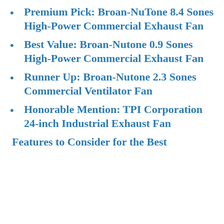Premium Pick: Broan-NuTone 8.4 Sones High-Power Commercial Exhaust Fan
Best Value: Broan-Nutone 0.9 Sones High-Power Commercial Exhaust Fan
Runner Up: Broan-Nutone 2.3 Sones Commercial Ventilator Fan
Honorable Mention: TPI Corporation 24-inch Industrial Exhaust Fan
Features to Consider for the Best